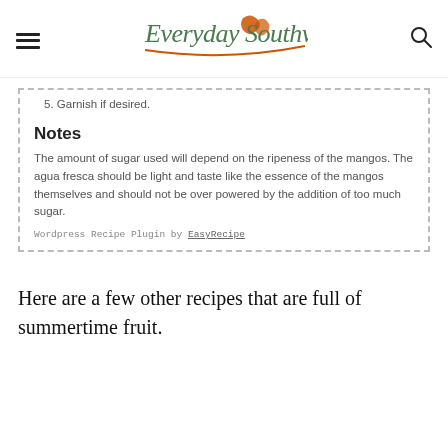Everyday Southwest
5. Garnish if desired.
Notes
The amount of sugar used will depend on the ripeness of the mangos. The agua fresca should be light and taste like the essence of the mangos themselves and should not be over powered by the addition of too much sugar.
Wordpress Recipe Plugin by EasyRecipe
Here are a few other recipes that are full of summertime fruit.